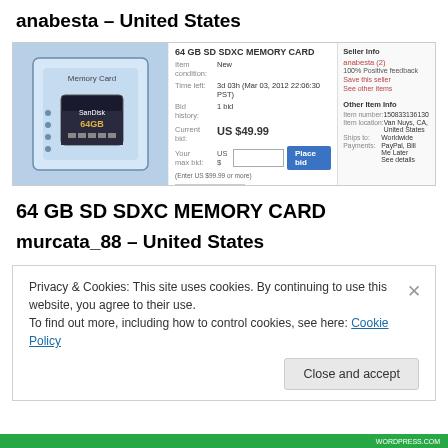anabesta – United States
[Figure (screenshot): eBay listing screenshot for 64 GB SD SDXC MEMORY CARD showing product photo, item details, current bid of US $49.99, and seller info panel]
64 GB SD SDXC MEMORY CARD
murcata_88 – United States
Privacy & Cookies: This site uses cookies. By continuing to use this website, you agree to their use.
To find out more, including how to control cookies, see here: Cookie Policy
WORDPRESS.COM